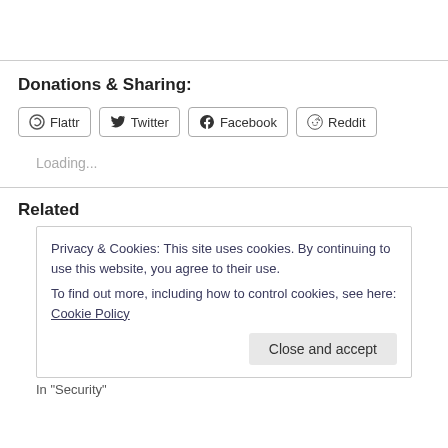Donations & Sharing:
[Figure (other): Row of social sharing buttons: Flattr, Twitter, Facebook, Reddit]
Loading...
Related
Privacy & Cookies: This site uses cookies. By continuing to use this website, you agree to their use.
To find out more, including how to control cookies, see here: Cookie Policy
Close and accept
In "Security"